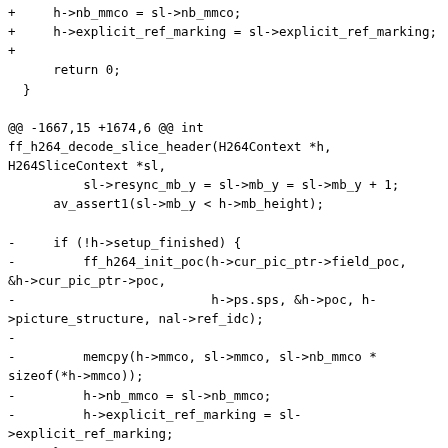+     h->nb_mmco = sl->nb_mmco;
+     h->explicit_ref_marking = sl->explicit_ref_marking;
+
      return 0;
  }

@@ -1667,15 +1674,6 @@ int ff_h264_decode_slice_header(H264Context *h, H264SliceContext *sl,
          sl->resync_mb_y = sl->mb_y = sl->mb_y + 1;
      av_assert1(sl->mb_y < h->mb_height);

-     if (!h->setup_finished) {
-         ff_h264_init_poc(h->cur_pic_ptr->field_poc, &h->cur_pic_ptr->poc,
-                          h->ps.sps, &h->poc, h->picture_structure, nal->ref_idc);
-
-         memcpy(h->mmco, sl->mmco, sl->nb_mmco * sizeof(*h->mmco));
-         h->nb_mmco = sl->nb_mmco;
-         h->explicit_ref_marking = sl->explicit_ref_marking;
-     }
-
      ret = ff_h264_build_ref_list(h, sl);
      if (ret < 0)
              return ret;